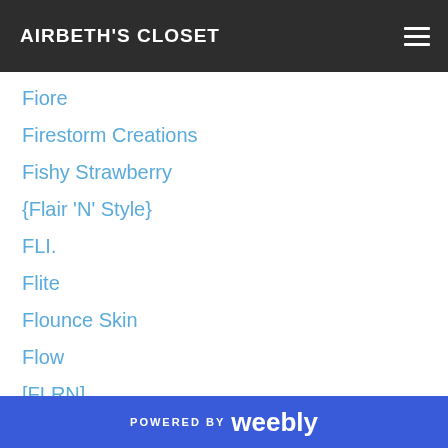AIRBETH'S CLOSET
Fiore
Firestorm Creations
Fishy Strawberry
{Flair 'N' Style}
FLI.
Flite
Flounce Skin
Flow
[FLRN]
Fluffy Kawaii
*FN*
:: Focus Poses ::
Follow US
Formanails
Fourty5
POWERED BY weebly